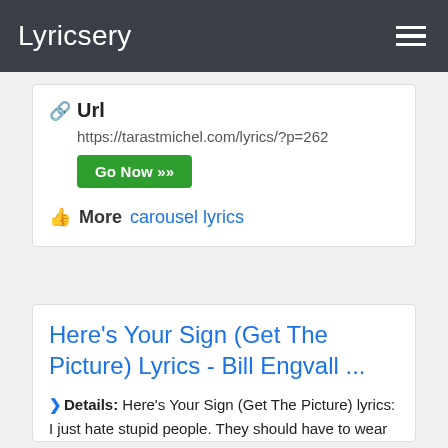Lyricsery
Url
https://tarastmichel.com/lyrics/?p=262
Go Now »
More  carousel lyrics
Here's Your Sign (Get The Picture) Lyrics - Bill Engvall ...
> Details: Here's Your Sign (Get The Picture) lyrics: I just hate stupid people. They should have to wear signs that just say I'm stupid. That way you wouldn't rely on them, would you? You wouldn't ask them